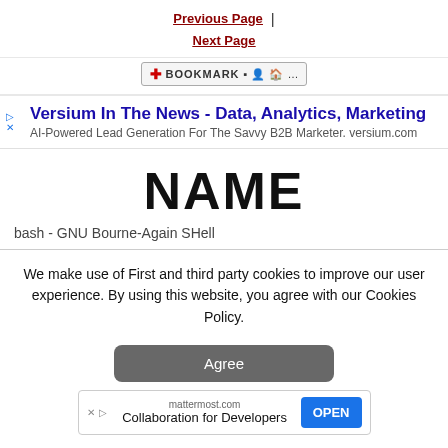Previous Page | Next Page
[Figure (screenshot): Bookmark toolbar button with icons]
[Figure (screenshot): Ad banner: Versium In The News - Data, Analytics, Marketing. AI-Powered Lead Generation For The Savvy B2B Marketer. versium.com]
NAME
bash - GNU Bourne-Again SHell
We make use of First and third party cookies to improve our user experience. By using this website, you agree with our Cookies Policy.
[Figure (screenshot): Agree button - grey rounded rectangle]
[Figure (screenshot): Bottom ad: mattermost.com - Collaboration for Developers - OPEN button]